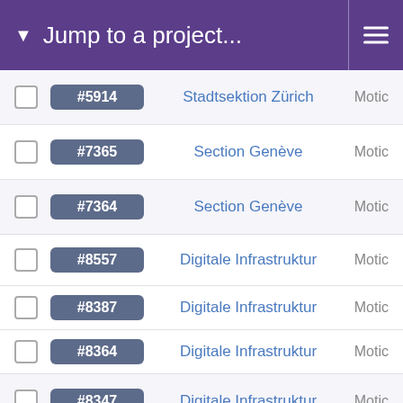Jump to a project...
#5914 | Stadtsektion Zürich | Motio
#7365 | Section Genève | Motio
#7364 | Section Genève | Motio
#8557 | Digitale Infrastruktur | Motio
#8387 | Digitale Infrastruktur | Motio
#8364 | Digitale Infrastruktur | Motio
#8347 | Digitale Infrastruktur | Motio